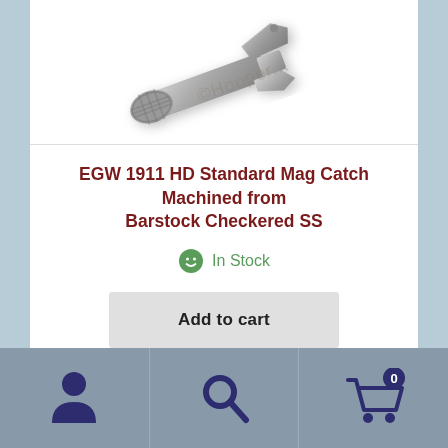[Figure (photo): Product photo of a metallic mag catch part (EGW 1911 HD Standard Mag Catch, stainless steel, checkered), with a watermark reading '©Hooper...' overlaid diagonally on a white background.]
EGW 1911 HD Standard Mag Catch Machined from Barstock Checkered SS
In Stock
Add to cart